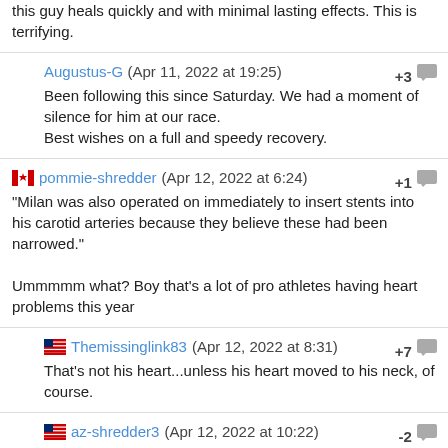this guy heals quickly and with minimal lasting effects. This is terrifying.
Augustus-G (Apr 11, 2022 at 19:25) +3
Been following this since Saturday. We had a moment of silence for him at our race.
Best wishes on a full and speedy recovery.
pommie-shredder (Apr 12, 2022 at 6:24) +1
"Milan was also operated on immediately to insert stents into his carotid arteries because they believe these had been narrowed."
Ummmmm what? Boy that's a lot of pro athletes having heart problems this year
Themissinglink83 (Apr 12, 2022 at 8:31) +7
That's not his heart...unless his heart moved to his neck, of course.
az-shredder3 (Apr 12, 2022 at 10:22) -2
Clot shot strikes again.
Themissinglink83 (Apr 12, 2022 at 10:34) +0